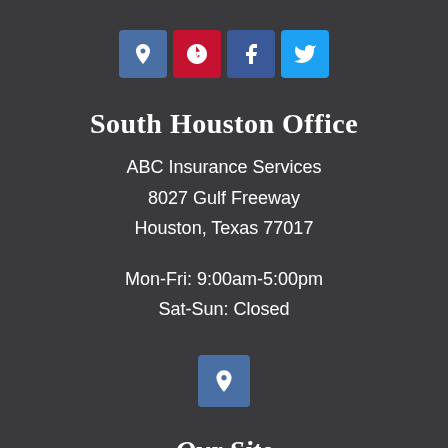[Figure (infographic): Four social media icon buttons: Google Maps (blue), Yelp (red), Facebook (blue), Twitter (cyan)]
South Houston Office
ABC Insurance Services
8027 Gulf Freeway
Houston, Texas 77017
Mon-Fri: 9:00am-5:00pm
Sat-Sun: Closed
[Figure (infographic): Single Google Maps location pin icon button (blue square)]
Our Site
ABC Insurance Services specializes in Auto / Car Insurance, Home